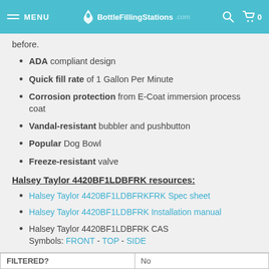MENU | BottleFillingStations.com | [search] [cart 0]
before.
ADA compliant design
Quick fill rate of 1 Gallon Per Minute
Corrosion protection from E-Coat immersion process coat
Vandal-resistant bubbler and pushbutton
Popular Dog Bowl
Freeze-resistant valve
Halsey Taylor 4420BF1LDBFRK resources:
Halsey Taylor 4420BF1LDBFRKFRK Spec sheet
Halsey Taylor 4420BF1LDBFRK Installation manual
Halsey Taylor 4420BF1LDBFRK CAS Symbols: FRONT - TOP - SIDE
| FILTERED? | No |
| --- | --- |